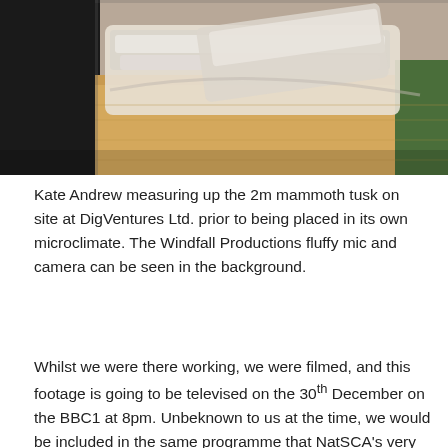[Figure (photo): Top-down photograph of a 2m mammoth tusk wrapped in plastic/protective material, placed in a wooden crate or shelf, with dark and green surfaces visible in the background.]
Kate Andrew measuring up the 2m mammoth tusk on site at DigVentures Ltd. prior to being placed in its own microclimate. The Windfall Productions fluffy mic and camera can be seen in the background.
Whilst we were there working, we were filmed, and this footage is going to be televised on the 30th December on the BBC1 at 8pm. Unbeknown to us at the time, we would be included in the same programme that NatSCA's very own patron Ben Garrod will be the presenter, and the programme will be narrated by Sir David Attenborough himself!